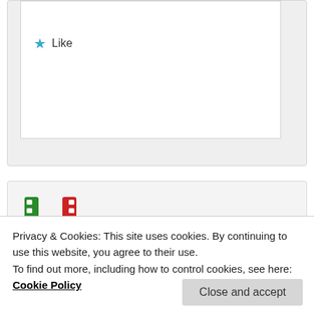[Figure (illustration): Partial top card with a blue star and Like button visible]
[Figure (illustration): Film strip icon avatar in green and red colors for user fernandorafael]
fernandorafael on November 13, 2014 at 11:08 pm said:
Also, loved how AGL successfully tackled a
Privacy & Cookies: This site uses cookies. By continuing to use this website, you agree to their use.
To find out more, including how to control cookies, see here: Cookie Policy